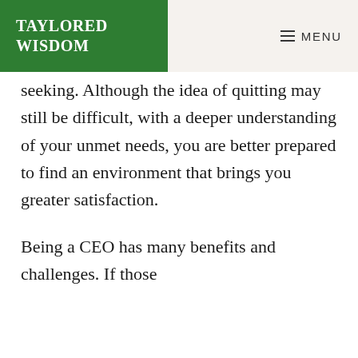TAYLORED WISDOM  ≡ MENU
seeking. Although the idea of quitting may still be difficult, with a deeper understanding of your unmet needs, you are better prepared to find an environment that brings you greater satisfaction.
Being a CEO has many benefits and challenges. If those